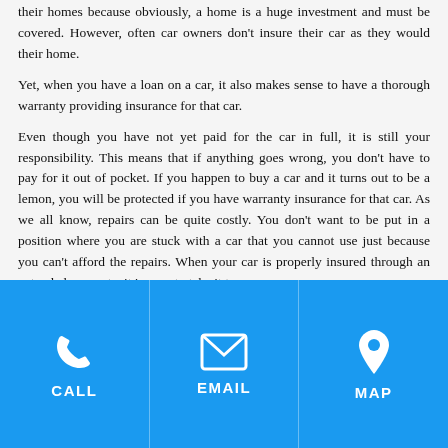their homes because obviously, a home is a huge investment and must be covered. However, often car owners don't insure their car as they would their home.
Yet, when you have a loan on a car, it also makes sense to have a thorough warranty providing insurance for that car.
Even though you have not yet paid for the car in full, it is still your responsibility. This means that if anything goes wrong, you don't have to pay for it out of pocket. If you happen to buy a car and it turns out to be a lemon, you will be protected if you have warranty insurance for that car. As we all know, repairs can be quite costly. You don't want to be put in a position where you are stuck with a car that you cannot use just because you can't afford the repairs. When your car is properly insured through an extended warranty, it is easy to take it to
[Figure (infographic): Blue footer bar with three sections: CALL (phone icon), EMAIL (envelope icon), MAP (location pin icon)]